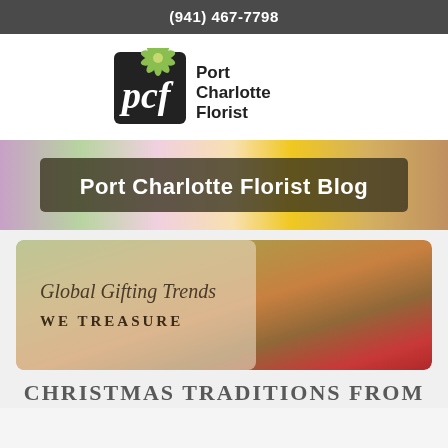(941) 467-7798
[Figure (logo): Port Charlotte Florist logo with black square containing 'pcf' in white and a green daisy, with text 'Port Charlotte Florist' beside it]
[Figure (photo): Colorful flower arrangement banner background with text overlay 'Port Charlotte Florist Blog']
[Figure (photo): Article thumbnail showing baked goods and holiday items with text overlay 'Global Gifting Trends WE TREASURE']
CHRISTMAS TRADITIONS FROM